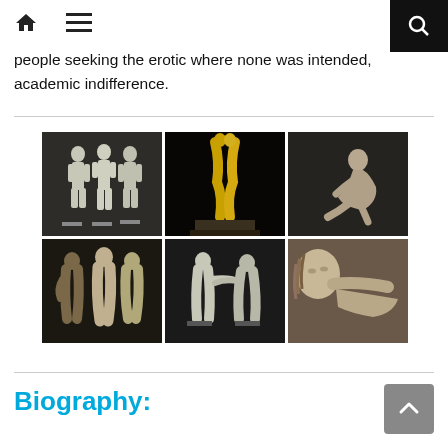Navigation bar with home, menu, and search icons
people seeking the erotic where none was intended, academic indifference.
[Figure (photo): Gallery of six sculpture photos arranged in a 3x2 grid, showing figurative sculptures in various materials including white/plaster and gold-finished works]
Biography: